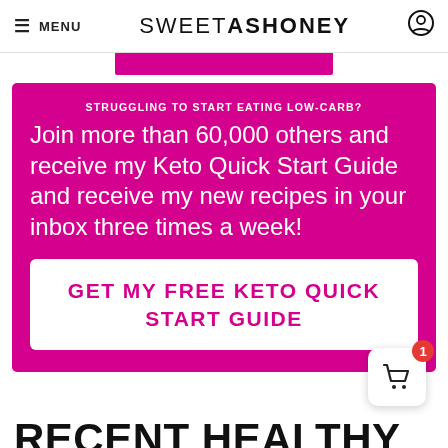≡ MENU   SWEETASHONEY 🔍
[Figure (screenshot): Partial pink CTA button bar at top]
STRUGGLING TO START EATING LOW-CARB?
Join more than 60,000 others and receive my Keto Quick Start Guide and receive my new recipes in your inbox three times a week!
GET MY FREE KETO QUICK START GUIDE
RECENT HEALTHY